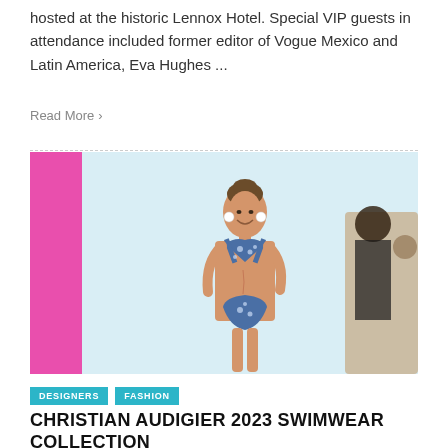hosted at the historic Lennox Hotel. Special VIP guests in attendance included former editor of Vogue Mexico and Latin America, Eva Hughes ...
Read More >
[Figure (photo): Fashion model walking a runway wearing a blue patterned bikini, with a pink backdrop panel visible on the left and audience members seated on the right]
DESIGNERS  FASHION
CHRISTIAN AUDIGIER 2023 SWIMWEAR COLLECTION